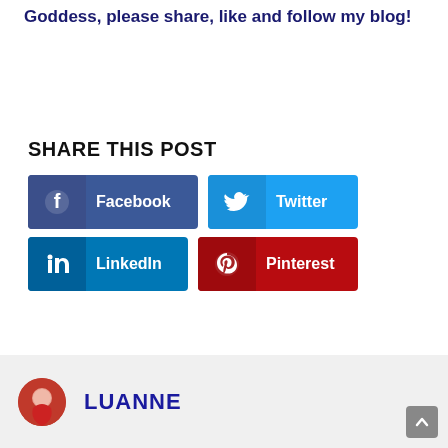Goddess, please share, like and follow my blog!
SHARE THIS POST
[Figure (infographic): Social share buttons: Facebook (dark blue), Twitter (light blue), LinkedIn (blue), Pinterest (dark red), each with icon and label]
LUANNE